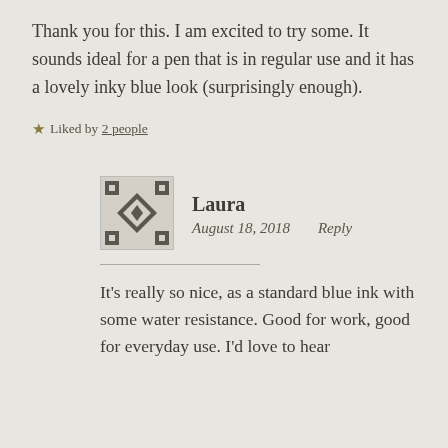Thank you for this. I am excited to try some. It sounds ideal for a pen that is in regular use and it has a lovely inky blue look (surprisingly enough).
★ Liked by 2 people
[Figure (illustration): Avatar icon with geometric tile pattern in grey and white, square with border]
Laura
August 18, 2018   Reply
It's really so nice, as a standard blue ink with some water resistance. Good for work, good for everyday use. I'd love to hear